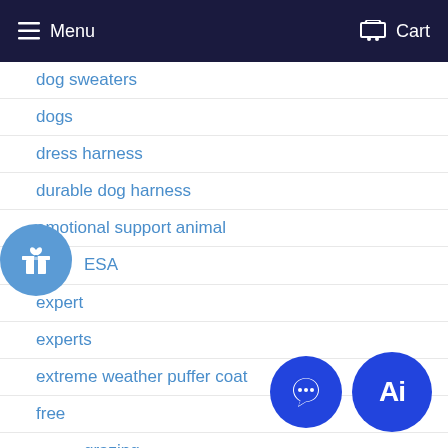Menu  Cart
dog sweaters
dogs
dress harness
durable dog harness
emotional support animal
ESA
expert
experts
extreme weather puffer coat
free
grazing
harness
homemade
jacket
knit
matching leash
natural dye